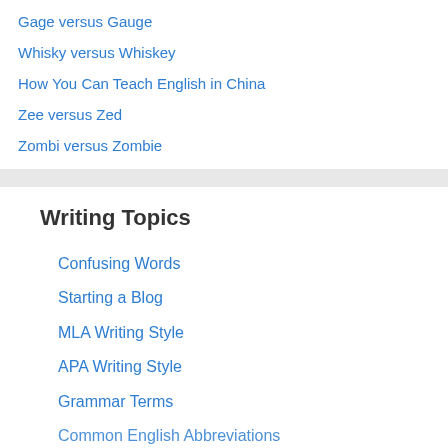Gage versus Gauge
Whisky versus Whiskey
How You Can Teach English in China
Zee versus Zed
Zombi versus Zombie
Writing Topics
Confusing Words
Starting a Blog
MLA Writing Style
APA Writing Style
Grammar Terms
Common English Abbreviations